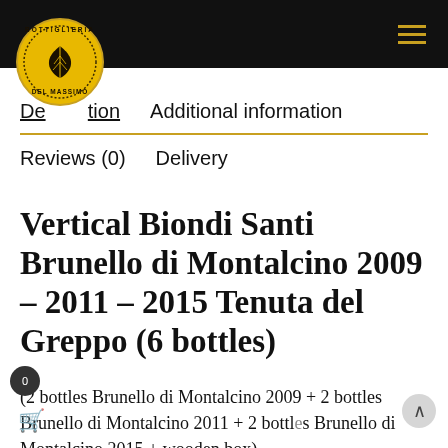Description   Additional information   Reviews (0)   Delivery
Vertical Biondi Santi Brunello di Montalcino 2009 – 2011 – 2015 Tenuta del Greppo (6 bottles)
(2 bottles Brunello di Montalcino 2009 + 2 bottles Brunello di Montalcino 2011 + 2 bottles Brunello di Montalcino 2015 + wooden box)